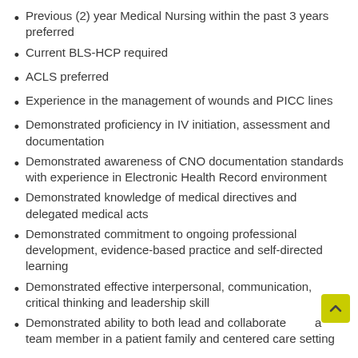Previous (2) year Medical Nursing within the past 3 years preferred
Current BLS-HCP required
ACLS preferred
Experience in the management of wounds and PICC lines
Demonstrated proficiency in IV initiation, assessment and documentation
Demonstrated awareness of CNO documentation standards with experience in Electronic Health Record environment
Demonstrated knowledge of medical directives and delegated medical acts
Demonstrated commitment to ongoing professional development, evidence-based practice and self-directed learning
Demonstrated effective interpersonal, communication, critical thinking and leadership skill
Demonstrated ability to both lead and collaborate as a team member in a patient family and centered care setting